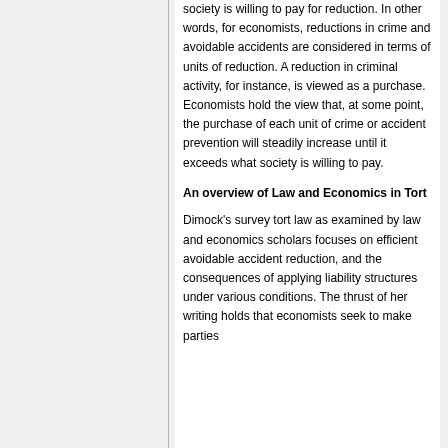society is willing to pay for reduction. In other words, for economists, reductions in crime and avoidable accidents are considered in terms of units of reduction. A reduction in criminal activity, for instance, is viewed as a purchase. Economists hold the view that, at some point, the purchase of each unit of crime or accident prevention will steadily increase until it exceeds what society is willing to pay.
An overview of Law and Economics in Tort
Dimock's survey tort law as examined by law and economics scholars focuses on efficient avoidable accident reduction, and the consequences of applying liability structures under various conditions. The thrust of her writing holds that economists seek to make parties